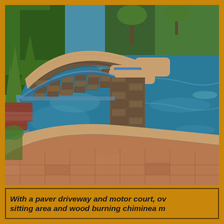[Figure (photo): Outdoor swimming pool and spa with stone/rock wall surround, stepping stones, terracotta tile deck, and lush desert landscaping with boulders and plants in the background.]
With a paver driveway and motor court, ove sitting area and wood burning chiminea m